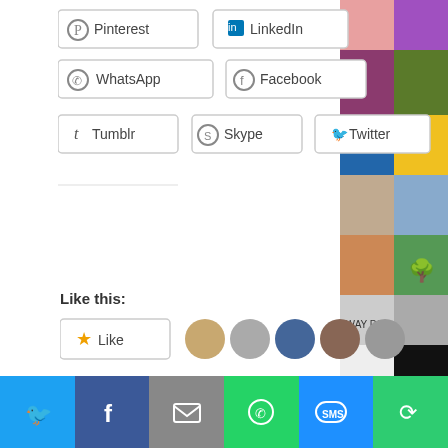[Figure (screenshot): Social sharing buttons: Pinterest, LinkedIn, WhatsApp, Facebook, Tumblr, Skype, Twitter]
Like this:
[Figure (screenshot): Like button with star icon, followed by 5 avatar images of bloggers]
36 bloggers like this.
[Figure (infographic): Sharing is caring! banner with arrow and social media icon buttons: Facebook, Twitter, Pinterest, More]
[Figure (screenshot): Leave a comment bar with icons]
[Figure (screenshot): Right sidebar with grid of avatar/thumbnail images]
[Figure (screenshot): Bottom toolbar with Twitter, Facebook, Email, WhatsApp, SMS, More share buttons]